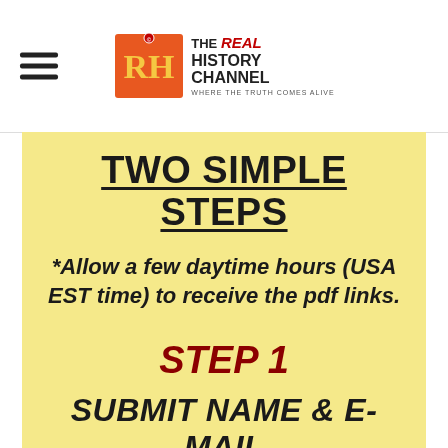THE REAL HISTORY CHANNEL — WHERE THE TRUTH COMES ALIVE
TWO SIMPLE STEPS
*Allow a few daytime hours (USA EST time) to receive the pdf links.
STEP 1
SUBMIT NAME & E-MAIL